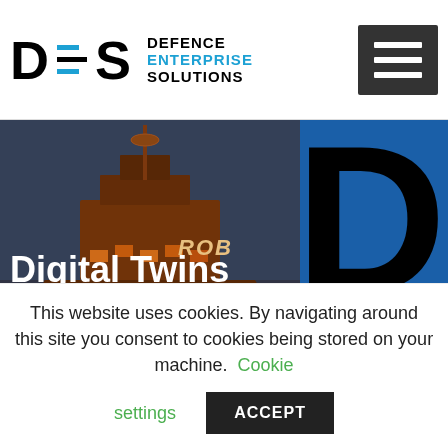[Figure (logo): Defence Enterprise Solutions (DES) logo with stylized D=S letters and blue/black horizontal lines, with text DEFENCE ENTERPRISE SOLUTIONS]
[Figure (photo): Hero banner image showing a BAE Systems naval warship at night lit in orange/amber, overlaid with large text 'Digital Twins' and subtitle 'A BAE Systems Naval Ships Case Study', with BAE SYSTEMS red bar at bottom. Right side shows large black D letter from DES logo on blue background with gold/black stripes.]
Digital Twins
A BAE Systems Naval Ships Case Study
This website uses cookies. By navigating around this site you consent to cookies being stored on your machine. Cookie settings ACCEPT